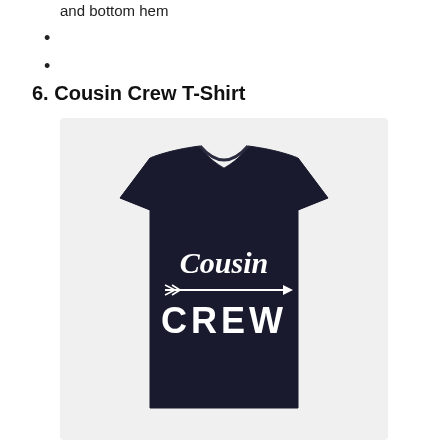and bottom hem
6. Cousin Crew T-Shirt
[Figure (photo): A black t-shirt with white script text reading 'Cousin' on top, a horizontal arrow graphic in the middle, and bold white text 'CREW' below, on a light background.]